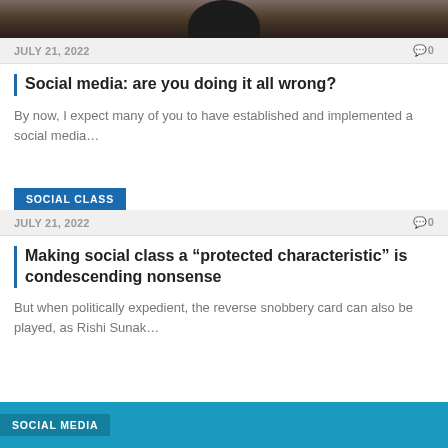[Figure (photo): Cropped photo showing bottom portion of a person wearing a dark t-shirt against a dark background]
JULY 21, 2022   0
Social media: are you doing it all wrong?
By now, I expect many of you to have established and implemented a social media…
SOCIAL CLASS
JULY 21, 2022   0
Making social class a “protected characteristic” is condescending nonsense
But when politically expedient, the reverse snobbery card can also be played, as Rishi Sunak…
SOCIAL MEDIA